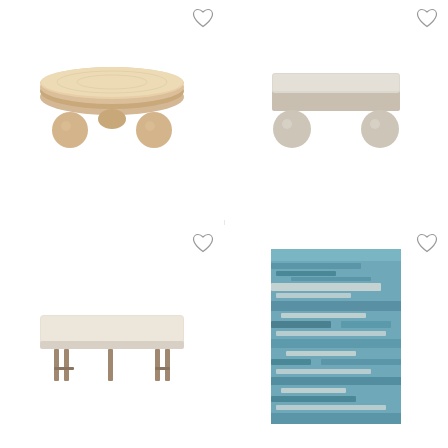[Figure (photo): Kelly Wearstler Large Morro Coffee Table - round wooden table with spherical ball legs in natural wood finish]
Kelly Wearstler Large Morro Coffee Table in...
$19,500 / item
[Figure (photo): Kelly Wearstler Morro Square Coffee Table - square beige/stone top table with spherical ball legs]
Kelly Wearstler Morro Square Coffee Table in...
$22,500
[Figure (photo): A low upholstered bench in cream/beige fabric with thin metal legs]
[Figure (photo): A blue and white patterned area rug with geometric/abstract design]